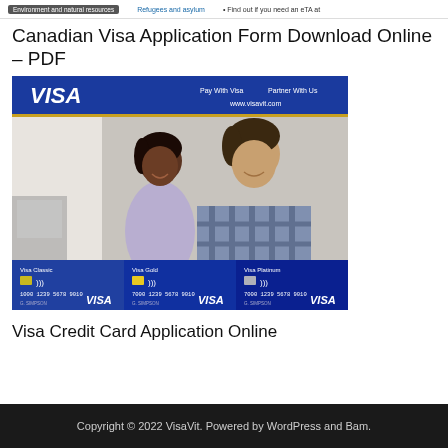Environment and natural resources   Refugees and asylum   • Find out if you need an eTA at
Canadian Visa Application Form Download Online – PDF
[Figure (photo): Visa credit card promotional image showing the VISA logo on a dark blue banner with 'Pay With Visa', 'Partner With Us', and 'www.visavit.com' text, a photo of two people smiling and looking at documents, and three credit card images at the bottom labeled Visa Classic, Visa Gold, and Visa Platinum.]
Visa Credit Card Application Online
Copyright © 2022 VisaVit. Powered by WordPress and Bam.